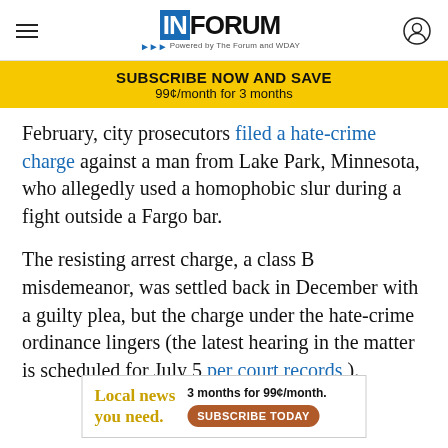INFORUM — Powered by The Forum and WDAY
SUBSCRIBE NOW AND SAVE
99¢/month for 3 months
February, city prosecutors filed a hate-crime charge against a man from Lake Park, Minnesota, who allegedly used a homophobic slur during a fight outside a Fargo bar.
The resisting arrest charge, a class B misdemeanor, was settled back in December with a guilty plea, but the charge under the hate-crime ordinance lingers (the latest hearing in the matter is scheduled for July 5 per court records ).
[Figure (infographic): Advertisement banner: 'Local news you need. 3 months for 99¢/month. SUBSCRIBE TODAY']